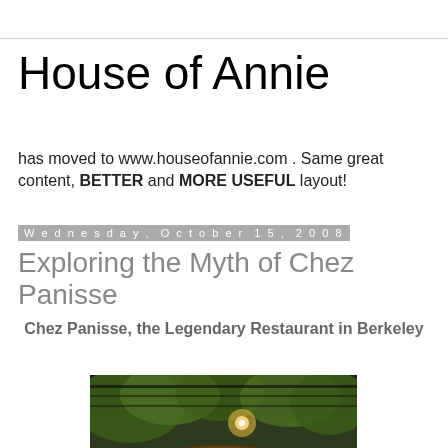House of Annie
has moved to www.houseofannie.com . Same great content, BETTER and MORE USEFUL layout!
Wednesday, October 15, 2008
Exploring the Myth of Chez Panisse
Chez Panisse, the Legendary Restaurant in Berkeley
[Figure (photo): Exterior photo of Chez Panisse restaurant showing the wooden entrance arch with 'CHEZ PANISSE' lettering, trees, and an outdoor lamp glowing at dusk]